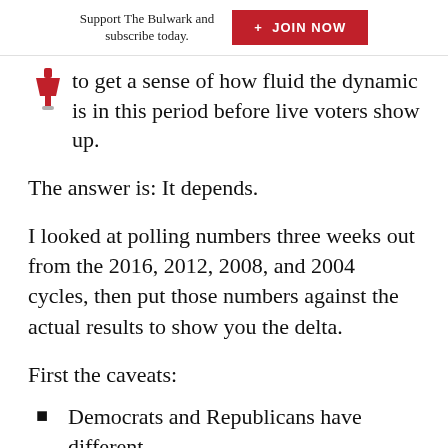Support The Bulwark and subscribe today. + JOIN NOW
to get a sense of how fluid the dynamic is in this period before live voters show up.
The answer is: It depends.
I looked at polling numbers three weeks out from the 2016, 2012, 2008, and 2004 cycles, then put those numbers against the actual results to show you the delta.
First the caveats:
Democrats and Republicans have different